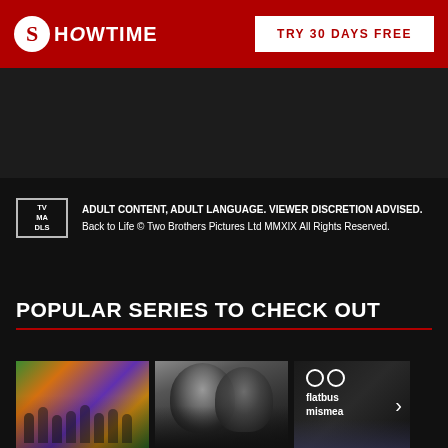SHOWTIME — TRY 30 DAYS FREE
[Figure (screenshot): Dark video/content area from Showtime streaming page]
ADULT CONTENT, ADULT LANGUAGE. VIEWER DISCRETION ADVISED.
Back to Life © Two Brothers Pictures Ltd MMXIX All Rights Reserved.
POPULAR SERIES TO CHECK OUT
[Figure (photo): Colorful group of people in African-inspired clothing]
[Figure (photo): Black and white close-up portrait of a man]
[Figure (photo): Flatbush Misdemeanors show thumbnail with logo and street scene]